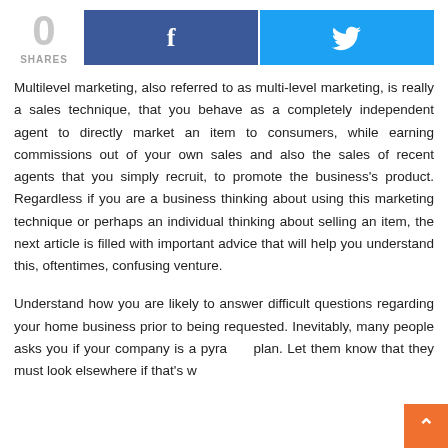[Figure (infographic): Social share bar with 0 shares count, Facebook button (dark blue with f), and Twitter button (light blue with bird icon)]
Multilevel marketing, also referred to as multi-level marketing, is really a sales technique, that you behave as a completely independent agent to directly market an item to consumers, while earning commissions out of your own sales and also the sales of recent agents that you simply recruit, to promote the business's product. Regardless if you are a business thinking about using this marketing technique or perhaps an individual thinking about selling an item, the next article is filled with important advice that will help you understand this, oftentimes, confusing venture.
Understand how you are likely to answer difficult questions regarding your home business prior to being requested. Inevitably, many people asks you if your company is a pyramid plan. Let them know that they must look elsewhere if that's w